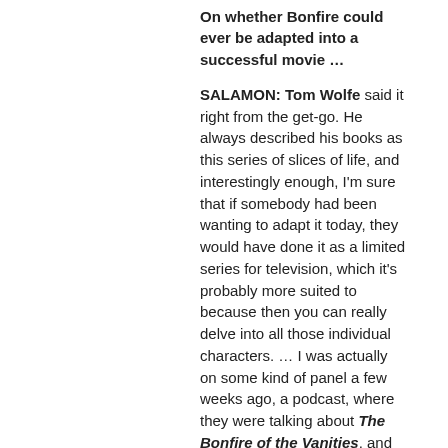On whether Bonfire could ever be adapted into a successful movie …
SALAMON: Tom Wolfe said it right from the get-go. He always described his books as this series of slices of life, and interestingly enough, I'm sure that if somebody had been wanting to adapt it today, they would have done it as a limited series for television, which it's probably more suited to because then you can really delve into all those individual characters. … I was actually on some kind of panel a few weeks ago, a podcast, where they were talking about The Bonfire of the Vanities, and that book itself has become a hot potato in a different way now because of all of the racial stuff in it that just today would be much harder to adapt for all kinds of sensitivities. Even though I think Tom Wolfe was doing a satire, I think it would be extremely difficult to adapt today.